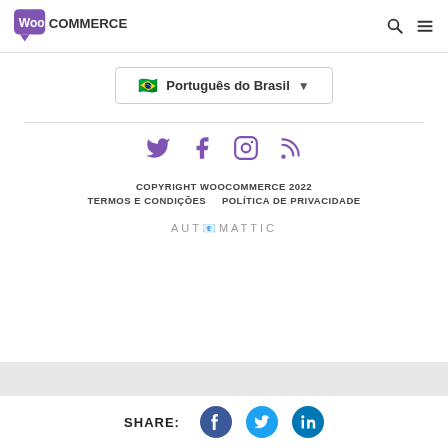[Figure (logo): WooCommerce logo in top-left header with purple speech-bubble icon and bold text COMMERCE]
[Figure (infographic): Search icon (magnifying glass) and hamburger menu icon in top-right header]
🇧🇷 Português do Brasil ▼
[Figure (infographic): Social media icons: Twitter, Facebook, Instagram, RSS — in purple]
COPYRIGHT WOOCOMMERCE 2022
TERMOS E CONDIÇÕES    POLÍTICA DE PRIVACIDADE
AUTOMATTIC
SHARE:
[Figure (infographic): Share icons: Facebook (blue circle), Twitter (cyan circle), LinkedIn (teal circle)]